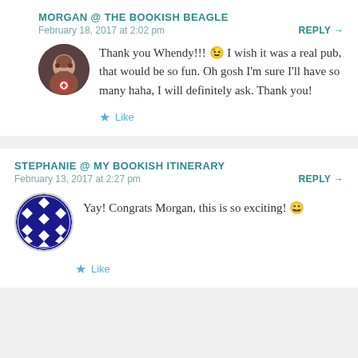MORGAN @ THE BOOKISH BEAGLE
February 18, 2017 at 2:02 pm
REPLY →
Thank you Whendy!!! 😉 I wish it was a real pub, that would be so fun. Oh gosh I'm sure I'll have so many haha, I will definitely ask. Thank you!
★ Like
STEPHANIE @ MY BOOKISH ITINERARY
February 13, 2017 at 2:27 pm
REPLY →
Yay! Congrats Morgan, this is so exciting! 😀
★ Like